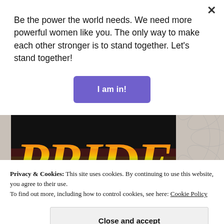Be the power the world needs. We need more powerful women like you. The only way to make each other stronger is to stand together. Let's stand together!
I am in!
[Figure (illustration): Rainbow-colored 'PRIDE' text in decorative script on a black background]
Privacy & Cookies: This site uses cookies. By continuing to use this website, you agree to their use.
To find out more, including how to control cookies, see here: Cookie Policy
Close and accept